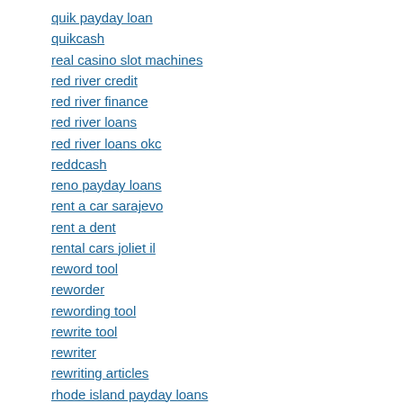quik payday loan
quikcash
real casino slot machines
red river credit
red river finance
red river loans
red river loans okc
reddcash
reno payday loans
rent a car sarajevo
rent a dent
rental cars joliet il
reword tool
reworder
rewording tool
rewrite tool
rewriter
rewriting articles
rhode island payday loans